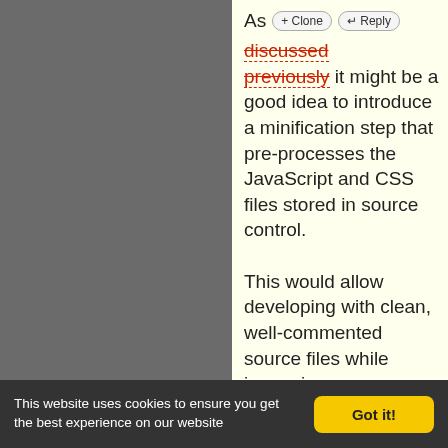As [+ Clone] [↵ Reply] discussed previously it might be a good idea to introduce a minification step that pre-processes the JavaScript and CSS files stored in source control.

This would allow developing with clean, well-commented source files while improving performance. We could then switch our JavaScript coding style to 4
This website uses cookies to ensure you get the best experience on our website  Got it!